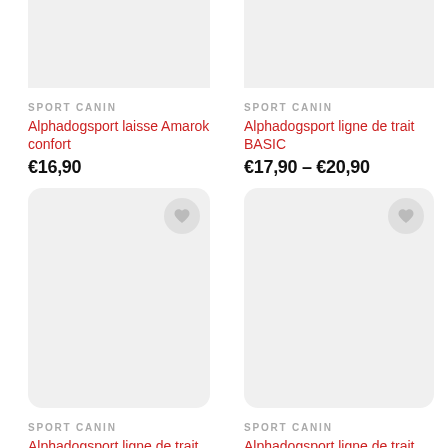[Figure (photo): Product image placeholder (light gray rectangle) for Alphadogsport laisse Amarok confort]
SPORT CANIN
Alphadogsport laisse Amarok confort
€16,90
[Figure (photo): Product image placeholder (light gray rectangle) for Alphadogsport ligne de trait BASIC]
SPORT CANIN
Alphadogsport ligne de trait BASIC
€17,90 – €20,90
[Figure (photo): Product card image placeholder (light gray rounded rectangle) for Alphadogsport ligne de trait PRO 10]
SPORT CANIN
Alphadogsport ligne de trait PRO 10
€28,90 – €33,90
[Figure (photo): Product card image placeholder (light gray rounded rectangle) for Alphadogsport ligne de trait PRO 6]
SPORT CANIN
Alphadogsport ligne de trait PRO 6
€28,90 – €33,90